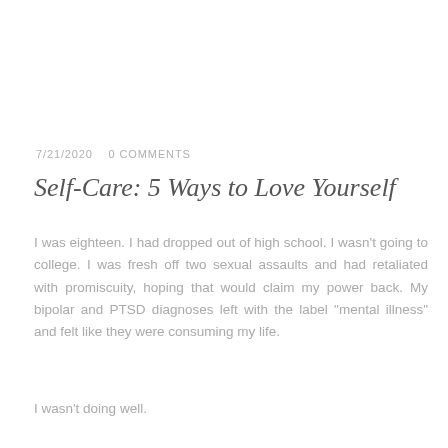7/21/2020   0 COMMENTS
Self-Care: 5 Ways to Love Yourself
I was eighteen. I had dropped out of high school. I wasn't going to college. I was fresh off two sexual assaults and had retaliated with promiscuity, hoping that would claim my power back. My bipolar and PTSD diagnoses left with the label "mental illness" and felt like they were consuming my life.
I wasn't doing well.